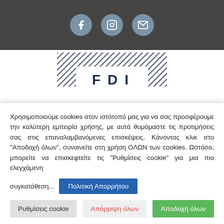[Figure (other): Dark gray header bar with three circular social media icons (Facebook, Instagram, Email) in muted blue-gray color]
[Figure (logo): FDI logo with diagonal stripe pattern forming a rectangular border, letters F D I in dark navy below the stripes]
Χρησιμοποιούμε cookies στον ιστότοπό μας για να σας προσφέρουμε την καλύτερη εμπειρία χρήσης, με αυτά θυμόμαστε τις προτιμήσεις σας στις επαναλαμβανόμενες επισκέψεις. Κάνοντας κλικ στο "Αποδοχή όλων", συναινείτε στη χρήση ΟΛΩΝ των cookies. Ωστόσο, μπορείτε να επισκεφτείτε τις "Ρυθμίσεις cookie" για μια πιο ελεγχόμενη συγκατάθεση...
Πολιτική Απορρήτου
Ρυθμίσεις cookie
Απόρριψη όλων
Αποδοχή όλων